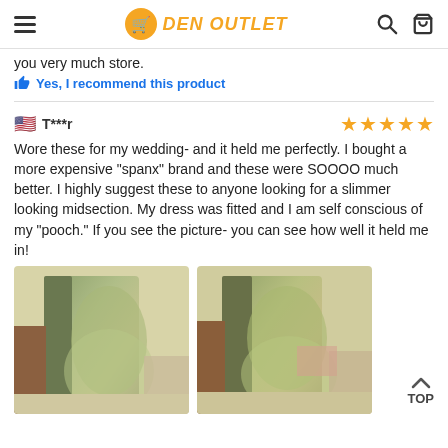DEN OUTLET
you very much store.
Yes, I recommend this product
T***r
Wore these for my wedding- and it held me perfectly. I bought a more expensive “spanx” brand and these were SOOOO much better. I highly suggest these to anyone looking for a slimmer looking midsection. My dress was fitted and I am self conscious of my “pooch.” If you see the picture- you can see how well it held me in!
[Figure (photo): Two side-by-side photos of a person wearing a fitted olive/khaki dress showing the midsection area, demonstrating the shaping effect of the product.]
TOP